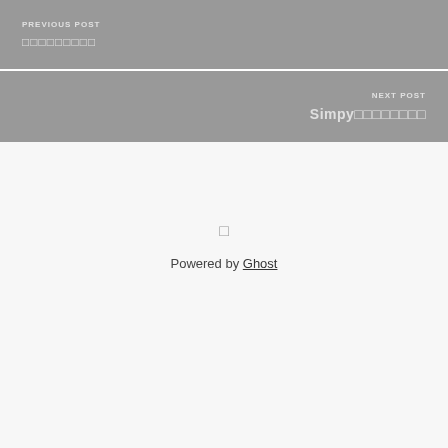PREVIOUS POST
□□□□□□□□□
NEXT POST
Simpy□□□□□□□□
□
Powered by Ghost